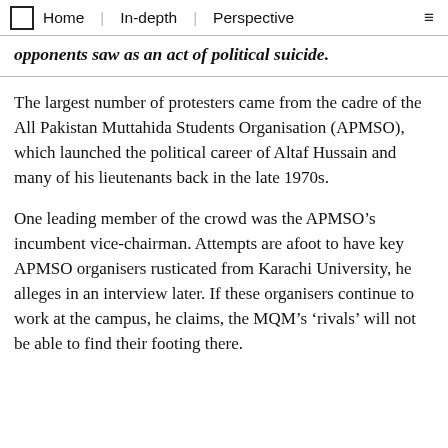Home | In-depth | Perspective
opponents saw as an act of political suicide.
The largest number of protesters came from the cadre of the All Pakistan Muttahida Students Organisation (APMSO), which launched the political career of Altaf Hussain and many of his lieutenants back in the late 1970s.
One leading member of the crowd was the APMSO’s incumbent vice-chairman. Attempts are afoot to have key APMSO organisers rusticated from Karachi University, he alleges in an interview later. If these organisers continue to work at the campus, he claims, the MQM’s ‘rivals’ will not be able to find their footing there.